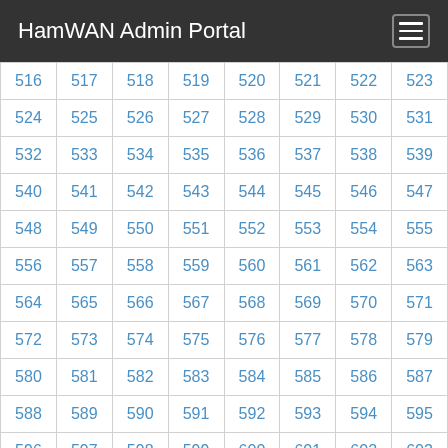HamWAN Admin Portal
| 516 | 517 | 518 | 519 | 520 | 521 | 522 | 523 |
| 524 | 525 | 526 | 527 | 528 | 529 | 530 | 531 |
| 532 | 533 | 534 | 535 | 536 | 537 | 538 | 539 |
| 540 | 541 | 542 | 543 | 544 | 545 | 546 | 547 |
| 548 | 549 | 550 | 551 | 552 | 553 | 554 | 555 |
| 556 | 557 | 558 | 559 | 560 | 561 | 562 | 563 |
| 564 | 565 | 566 | 567 | 568 | 569 | 570 | 571 |
| 572 | 573 | 574 | 575 | 576 | 577 | 578 | 579 |
| 580 | 581 | 582 | 583 | 584 | 585 | 586 | 587 |
| 588 | 589 | 590 | 591 | 592 | 593 | 594 | 595 |
| 596 | 597 | 598 | 599 | 600 | 601 | 602 | 603 |
| 604 | 605 | 606 | 607 | 608 | 609 | 610 | 611 |